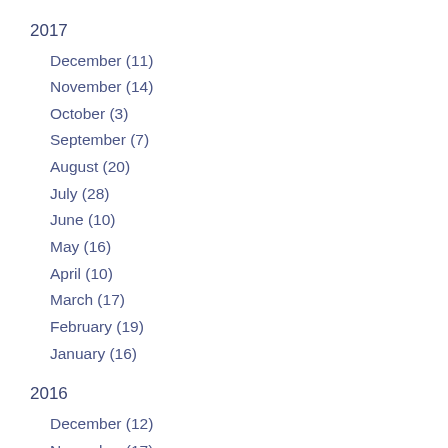2017
December (11)
November (14)
October (3)
September (7)
August (20)
July (28)
June (10)
May (16)
April (10)
March (17)
February (19)
January (16)
2016
December (12)
November (17)
October (10)
September (20)